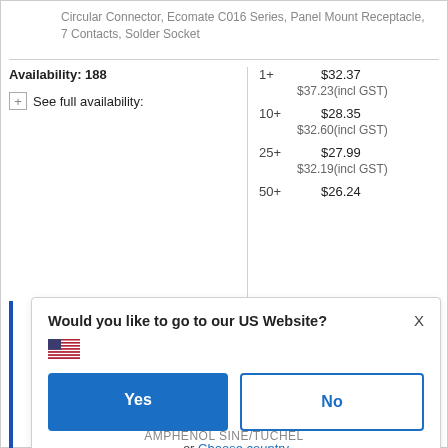Circular Connector, Ecomate C016 Series, Panel Mount Receptacle, 7 Contacts, Solder Socket
| Availability | Qty | Price |
| --- | --- | --- |
| Availability: 188 | 1+ | $32.37 |
|  |  | $37.23(incl GST) |
| See full availability: | 10+ | $28.35 |
|  |  | $32.60(incl GST) |
|  | 25+ | $27.99 |
|  |  | $32.19(incl GST) |
|  | 50+ | $26.24 |
Would you like to go to our US Website?
Yes
No
or Choose country
Remember this choice and automatically redirect me in the future
AMPHENOL SINE/TUCHEL